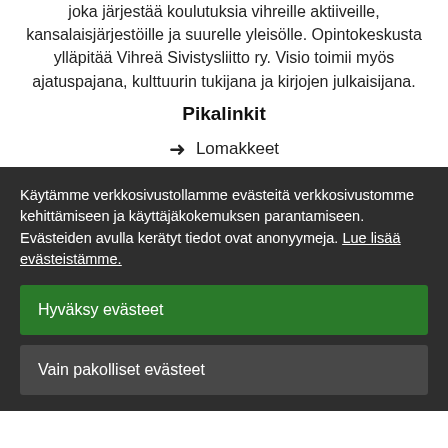joka järjestää koulutuksia vihreille aktiiveille, kansalaisjärjestöille ja suurelle yleisölle. Opintokeskusta ylläpitää Vihreä Sivistysliitto ry. Visio toimii myös ajatuspajana, kulttuurin tukijana ja kirjojen julkaisijana.
Pikalinkit
→ Lomakkeet
Käytämme verkkosivustollamme evästeitä verkkosivustomme kehittämiseen ja käyttäjäkokemuksen parantamiseen. Evästeiden avulla kerätyt tiedot ovat anonyymeja. Lue lisää evästeistämme.
Hyväksy evästeet
Vain pakolliset evästeet